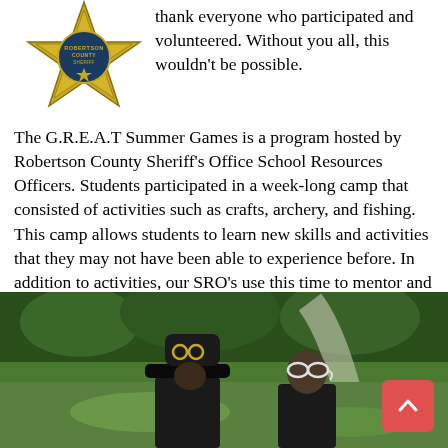[Figure (logo): Robertson County Sheriff's Office star badge logo in gold/yellow]
thank everyone who participated and volunteered. Without you all, this wouldn't be possible.
The G.R.E.A.T Summer Games is a program hosted by Robertson County Sheriff's Office School Resources Officers. Students participated in a week-long camp that consisted of activities such as crafts, archery, and fishing. This camp allows students to learn new skills and activities that they may not have been able to experience before. In addition to activities, our SRO's use this time to mentor and maintain relationships with students which is valuable in their continued education going from the school year into the summer break.
[Figure (photo): Outdoor photo showing two people (one wearing a dark hat with goggles, one with protective eyewear) at what appears to be an outdoor camp activity area with green trees and a path in the background]